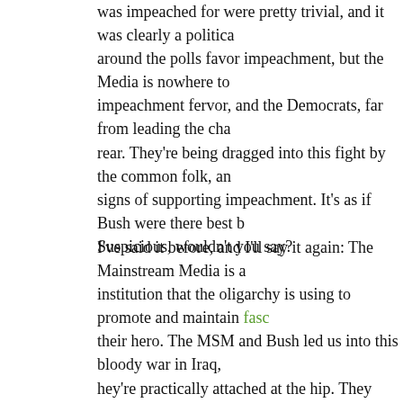was impeached for were pretty trivial, and it was clearly a political move. Around the polls favor impeachment, but the Media is nowhere to be found on impeachment fervor, and the Democrats, far from leading the charge, are bringing up the rear. They're being dragged into this fight by the common folk, and the Democrats show signs of supporting impeachment. It's as if Bush were there best buddy or something. Suspicious, wouldn't you say?
I've said it before, and I'll say it again: The Mainstream Media is a fascist institution that the oligarchy is using to promote and maintain fascism, and Bush is their hero. The MSM and Bush led us into this bloody war in Iraq, so naturally they're practically attached at the hip. They would sooner spit on the public than encourage the impeachment of their pretty-boy fascist führer. The Democrats are owned by the same oligarchy and their part is to basically "rollover and play dead" for the Republicans. We must feed the war machine with our babies. The MSM is key to this since so much of it is rooted in the military-industrial complex.
So what can you do about it? Well, start by supporting the organizations spearheading the impeachment effort. Quite frankly, there are so many I have a hard time keeping track of them all. Here's a quick list of some of the bigger ones:
AfterDowningStreet
Vote To Impeach
Impeach Bush Coalition
Impeach For Peace
ImpeachPAC